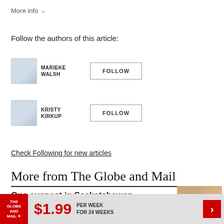More info ∨
Follow the authors of this article:
MARIEKE WALSH
FOLLOW
KRISTY KIRKUP
FOLLOW
Check Following for new articles
More from The Globe and Mail
One suspect in Saskatchewan stabbing found dead, RCMP say;
$1.99 PER WEEK FOR 24 WEEKS